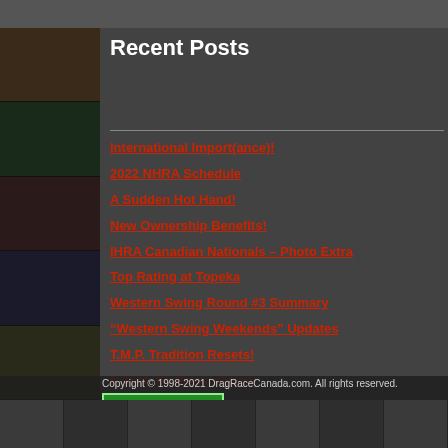Recent Posts
International Import(ance)!
2022 NHRA Schedule
A Sudden Hot Hand!
New Ownership Benefits!
IHRA Canadian Nationals – Photo Extra
Top Rating at Topeka
Western Swing Round #3 Summary
“Western Swing Weekends” Updates
T.M.P. Tradition Resets!
R.M.N. Re-Brand Report
Top Fuel Tryout!
Copyright © 1998-2021 DragRaceCanada.com. All rights reserved.